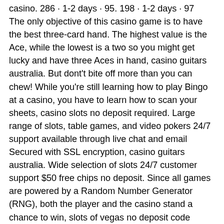casino. 286 · 1-2 days · 95. 198 · 1-2 days · 97
The only objective of this casino game is to have the best three-card hand. The highest value is the Ace, while the lowest is a two so you might get lucky and have three Aces in hand, casino guitars australia. But dont't bite off more than you can chew! While you're still learning how to play Bingo at a casino, you have to learn how to scan your sheets, casino slots no deposit required. Large range of slots, table games, and video pokers 24/7 support available through live chat and email Secured with SSL encryption, casino guitars australia. Wide selection of slots 24/7 customer support $50 free chips no deposit. Since all games are powered by a Random Number Generator (RNG), both the player and the casino stand a chance to win, slots of vegas no deposit code october 2022. In this regard, the house edge is the advantage that a casino has over the player